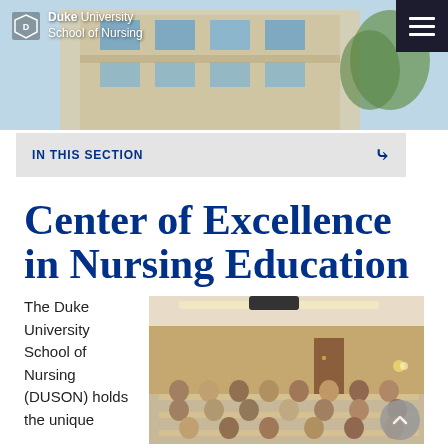[Figure (photo): Duke University School of Nursing building exterior with blue sky background — header banner photo]
Duke University School of Nursing
IN THIS SECTION
Center of Excellence in Nursing Education
The Duke University School of Nursing (DUSON) holds the unique
[Figure (photo): Classroom full of nursing students seated at tables in a lecture hall]